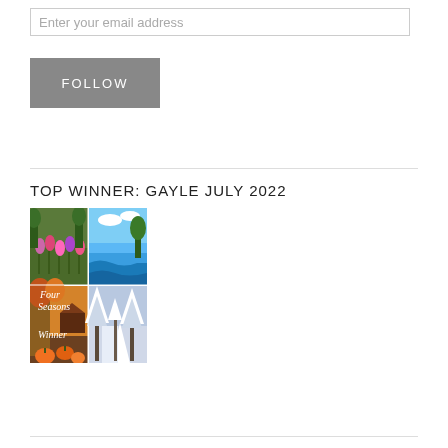Enter your email address
FOLLOW
TOP WINNER: GAYLE JULY 2022
[Figure (photo): Book cover image showing a four-panel collage of four seasons: spring tulip garden (top left), summer ocean/beach scene (top right), autumn pumpkin farm scene (bottom left), winter snowy forest path (bottom right). Text overlay reads 'Four Seasons Winner'.]